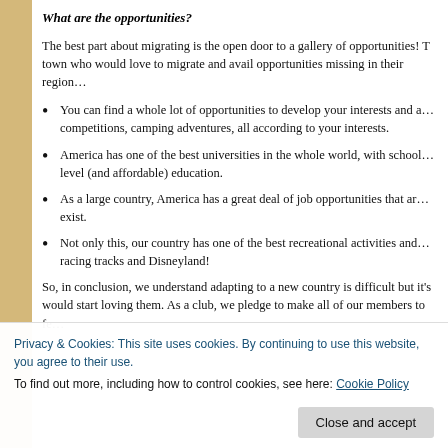What are the opportunities?
The best part about migrating is the open door to a gallery of opportunities! T… town who would love to migrate and avail opportunities missing in their region…
You can find a whole lot of opportunities to develop your interests and a… competitions, camping adventures, all according to your interests.
America has one of the best universities in the whole world, with school… level (and affordable) education.
As a large country, America has a great deal of job opportunities that ar… exist.
Not only this, our country has one of the best recreational activities and… racing tracks and Disneyland!
So, in conclusion, we understand adapting to a new country is difficult but it's… would start loving them. As a club, we pledge to make all of our members to fe…
Privacy & Cookies: This site uses cookies. By continuing to use this website, you agree to their use.
To find out more, including how to control cookies, see here: Cookie Policy
Close and accept